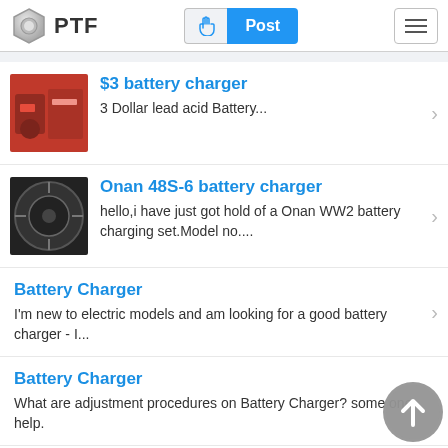PTF | Post
$3 battery charger
3 Dollar lead acid Battery...
Onan 48S-6 battery charger
hello,i have just got hold of a Onan WW2 battery charging set.Model no....
Battery Charger
I'm new to electric models and am looking for a good battery charger - I...
Battery Charger
What are adjustment procedures on Battery Charger? some one help.
Battery charger...
I almost feel silly asking such a simple question, but I wanted someother...